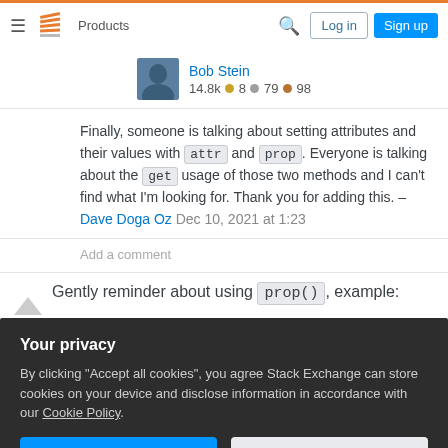Stack Overflow — Products | Log in | Sign up
Bob Stein 14.8k • 8 • 79 • 98
Finally, someone is talking about setting attributes and their values with attr and prop. Everyone is talking about the get usage of those two methods and I can't find what I'm looking for. Thank you for adding this. – Dave Doga Oz Dec 10, 2021 at 1:23
Add a comment
Gently reminder about using prop(), example:
Your privacy
By clicking "Accept all cookies", you agree Stack Exchange can store cookies on your device and disclose information in accordance with our Cookie Policy.
Accept all cookies  Customize settings
The function above is used to check if checkbox is